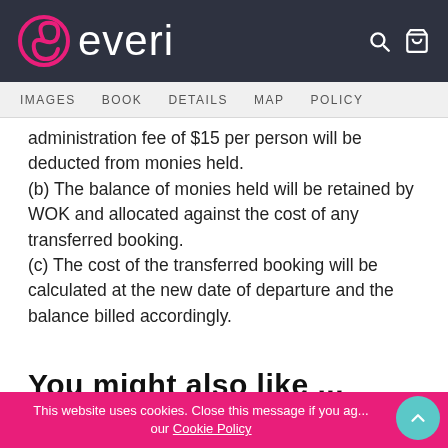everi
IMAGES   BOOK   DETAILS   MAP   POLICY
administration fee of $15 per person will be deducted from monies held. (b) The balance of monies held will be retained by WOK and allocated against the cost of any transferred booking. (c) The cost of the transferred booking will be calculated at the new date of departure and the balance billed accordingly.
You might also like ...
This website uses cookies. Close this message if you agree to our Cookie Policy